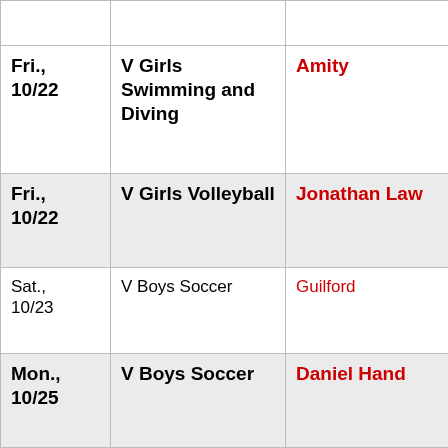| Date | Event | Opponent |
| --- | --- | --- |
|  |  |  |
| Fri., 10/22 | V Girls Swimming and Diving | Amity |
| Fri., 10/22 | V Girls Volleyball | Jonathan Law |
| Sat., 10/23 | V Boys Soccer | Guilford |
| Mon., 10/25 | V Boys Soccer | Daniel Hand |